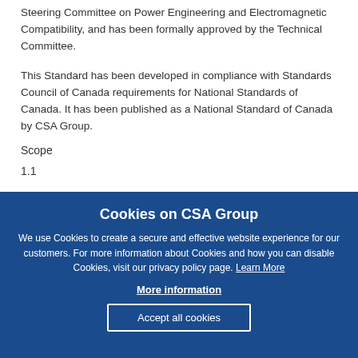Steering Committee on Power Engineering and Electromagnetic Compatibility, and has been formally approved by the Technical Committee.
This Standard has been developed in compliance with Standards Council of Canada requirements for National Standards of Canada. It has been published as a National Standard of Canada by CSA Group.
Scope
1.1
Cookies on CSA Group
We use Cookies to create a secure and effective website experience for our customers. For more information about Cookies and how you can disable Cookies, visit our privacy policy page. Learn More
More information
Accept all cookies